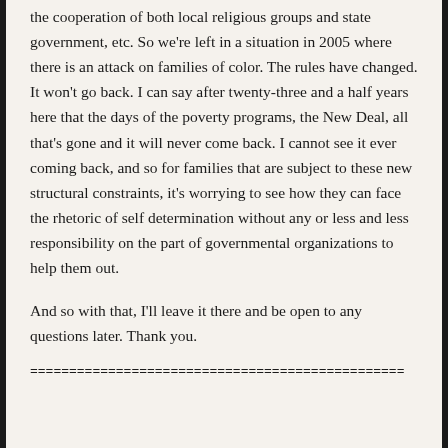the cooperation of both local religious groups and state government, etc. So we're left in a situation in 2005 where there is an attack on families of color. The rules have changed. It won't go back. I can say after twenty-three and a half years here that the days of the poverty programs, the New Deal, all that's gone and it will never come back. I cannot see it ever coming back, and so for families that are subject to these new structural constraints, it's worrying to see how they can face the rhetoric of self determination without any or less and less responsibility on the part of governmental organizations to help them out.
And so with that, I'll leave it there and be open to any questions later. Thank you.
==================================================